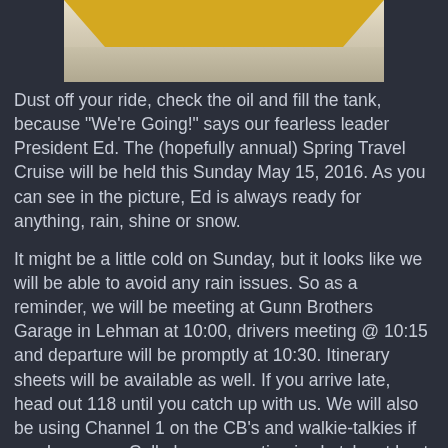[Figure (photo): Partial photo of a yellow vehicle in snowy conditions, top portion visible]
Dust off your ride, check the oil and fill the tank, because "We're Going!" says our fearless leader President Ed. The (hopefully annual) Spring Travel Cruise will be held this Sunday May 15, 2016. As you can see in the picture, Ed is always ready for anything, rain, shine or snow.
It might be a little cold on Sunday, but it looks like we will be able to avoid any rain issues. So as a reminder, we will be meeting at Gunn Brothers Garage in Lehman at 10:00, drivers meeting @ 10:15 and departure will be promptly at 10:30. Itinerary sheets will be available as well. If you arrive late, head out 118 until you catch up with us. We will also be using Channel 1 on the CB's and walkie-talkies if you have one. Cell phone reception is sketchy at best as we get close to our destination and is really non existent in Eagles Mere.
Temperatures will likely start out in the 40's  but climb into the 50's by the afternoon. If your heater is not up to par, you may want to bring a blanket and gloves, or just sit a little closer like you did when you were a teenager.